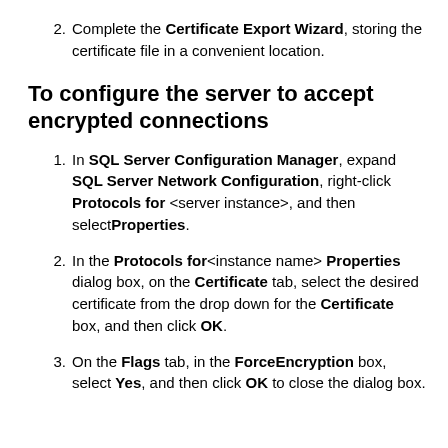2. Complete the Certificate Export Wizard, storing the certificate file in a convenient location.
To configure the server to accept encrypted connections
1. In SQL Server Configuration Manager, expand SQL Server Network Configuration, right-click Protocols for <server instance>, and then selectProperties.
2. In the Protocols for<instance name> Properties dialog box, on the Certificate tab, select the desired certificate from the drop down for the Certificate box, and then click OK.
3. On the Flags tab, in the ForceEncryption box, select Yes, and then click OK to close the dialog box.